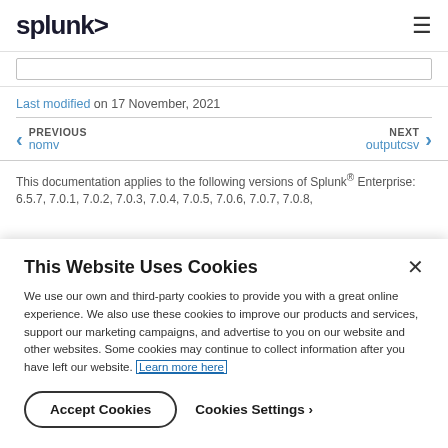splunk>
Last modified on 17 November, 2021
PREVIOUS nomv | NEXT outputcsv
This documentation applies to the following versions of Splunk® Enterprise: 6.5.7, 7.0.1, 7.0.2, 7.0.3, 7.0.4, 7.0.5, 7.0.6, 7.0.7, 7.0.8,
This Website Uses Cookies
We use our own and third-party cookies to provide you with a great online experience. We also use these cookies to improve our products and services, support our marketing campaigns, and advertise to you on our website and other websites. Some cookies may continue to collect information after you have left our website. Learn more here
Accept Cookies | Cookies Settings ›